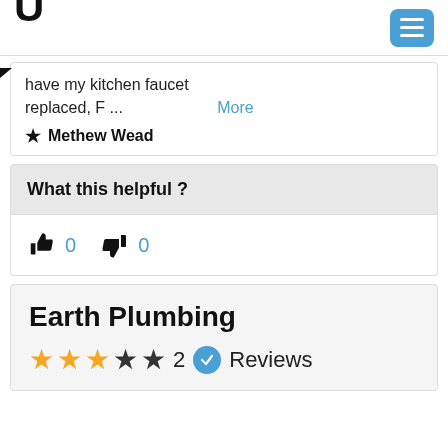U [logo] [menu button]
have my kitchen faucet replaced, F ...  More
★ Methew Wead
What this helpful ?
👍 0  👎 0
Earth Plumbing
★★★☆☆ 2 ✔ Reviews